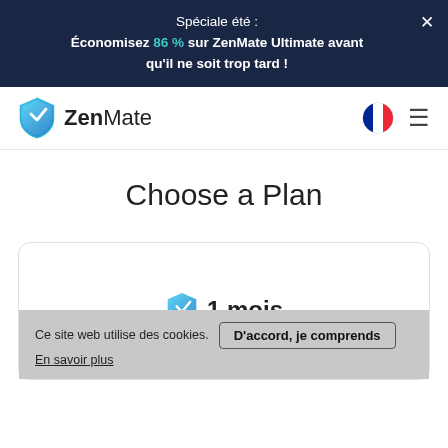Spéciale été : Économisez 86 % sur ZenMate Ultimate avant qu'il ne soit trop tard !
[Figure (logo): ZenMate logo with shield icon and text 'ZenMate']
Choose a Plan
1 mois
Ce site web utilise des cookies. D'accord, je comprends
En savoir plus